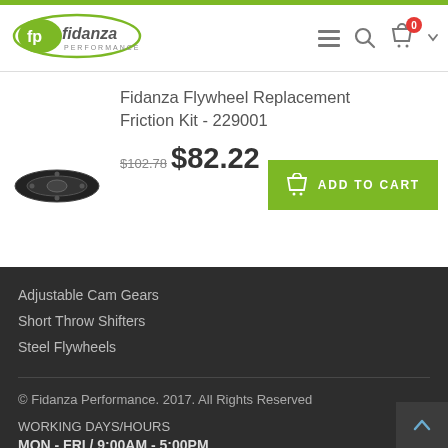[Figure (logo): Fidanza Performance logo - green and grey oval badge with stylized FP mark]
Fidanza Flywheel Replacement Friction Kit - 229001
[Figure (photo): Small product thumbnail image of Fidanza flywheel friction kit]
$102.78 $82.22
Adjustable Cam Gears
Short Throw Shifters
Steel Flywheels
© Fidanza Performance. 2017. All Rights Reserved
WORKING DAYS/HOURS
MON - FRI / 9:00AM - 5:00PM